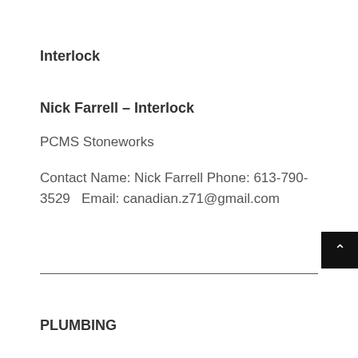Interlock
Nick Farrell – Interlock
PCMS Stoneworks
Contact Name: Nick Farrell Phone: 613-790-3529   Email: canadian.z71@gmail.com
PLUMBING